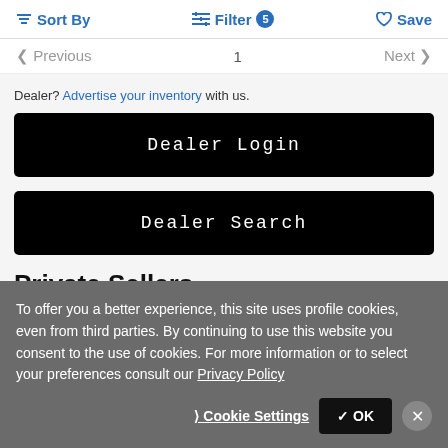Sort By  Filter 5  Save
Previous  1  Next
Dealer? Advertise your inventory with us.
[Figure (screenshot): Black button labeled 'Dealer Login']
[Figure (screenshot): Black button labeled 'Dealer Search']
Private Sellers
To offer you a better experience, this site uses profile cookies, even from third parties. By continuing to use this website you consent to the use of cookies. For more information or to select your preferences consult our Privacy Policy
Cookie Settings  ✓ OK  ×